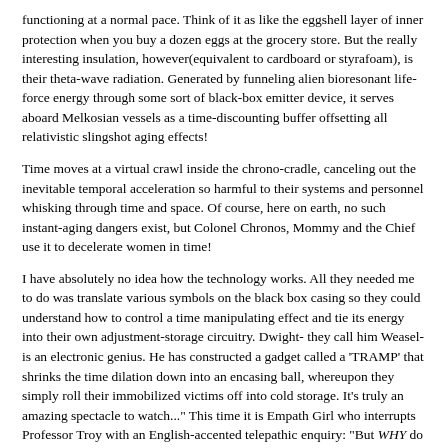functioning at a normal pace. Think of it as like the eggshell layer of inner protection when you buy a dozen eggs at the grocery store. But the really interesting insulation, however(equivalent to cardboard or styrafoam), is their theta-wave radiation. Generated by funneling alien bioresonant life-force energy through some sort of black-box emitter device, it serves aboard Melkosian vessels as a time-discounting buffer offsetting all relativistic slingshot aging effects!
Time moves at a virtual crawl inside the chrono-cradle, canceling out the inevitable temporal acceleration so harmful to their systems and personnel whisking through time and space. Of course, here on earth, no such instant-aging dangers exist, but Colonel Chronos, Mommy and the Chief use it to decelerate women in time!
I have absolutely no idea how the technology works. All they needed me to do was translate various symbols on the black box casing so they could understand how to control a time manipulating effect and tie its energy into their own adjustment-storage circuitry. Dwight- they call him Weasel- is an electronic genius. He has constructed a gadget called a 'TRAMP' that shrinks the time dilation down into an encasing ball, whereupon they simply roll their immobilized victims off into cold storage. It's truly an amazing spectacle to watch..." This time it is Empath Girl who interrupts Professor Troy with an English-accented telepathic enquiry: "But WHY do they need all these beautiful women!? What is their intent with them? Where are they taking them?" The attractive appearing late-twenties academic hesitates in a response to the new questions- showing first signs of resistance to the Mind Meld which suggest the controlling link will quite soon be broken. For an instant, Helen's blue eyes focus into a determined squinting sneer before resuming their dull blank cross-eyed expression. She then continues, "It is all simply a question of energy-'temporal fuel' as we call it. The chrono-cradle was